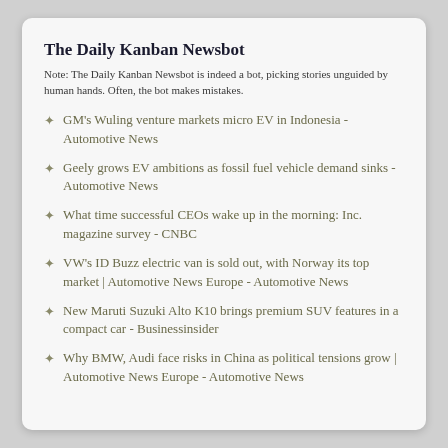The Daily Kanban Newsbot
Note: The Daily Kanban Newsbot is indeed a bot, picking stories unguided by human hands. Often, the bot makes mistakes.
GM's Wuling venture markets micro EV in Indonesia - Automotive News
Geely grows EV ambitions as fossil fuel vehicle demand sinks - Automotive News
What time successful CEOs wake up in the morning: Inc. magazine survey - CNBC
VW's ID Buzz electric van is sold out, with Norway its top market | Automotive News Europe - Automotive News
New Maruti Suzuki Alto K10 brings premium SUV features in a compact car - Businessinsider
Why BMW, Audi face risks in China as political tensions grow | Automotive News Europe - Automotive News